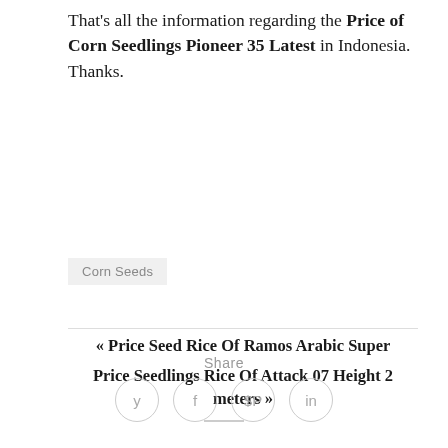That's all the information regarding the Price of Corn Seedlings Pioneer 35 Latest in Indonesia. Thanks.
Corn Seeds
« Price Seed Rice Of Ramos Arabic Super
Price Seedlings Rice Of Attack 07 Height 2 meters »
Share